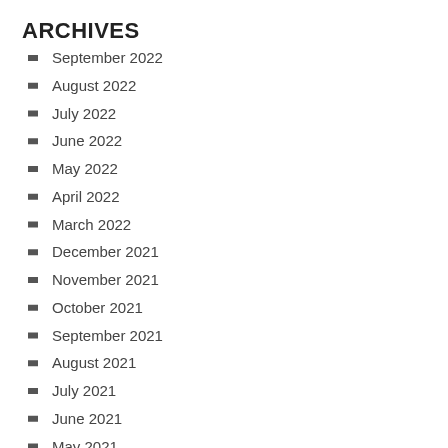ARCHIVES
September 2022
August 2022
July 2022
June 2022
May 2022
April 2022
March 2022
December 2021
November 2021
October 2021
September 2021
August 2021
July 2021
June 2021
May 2021